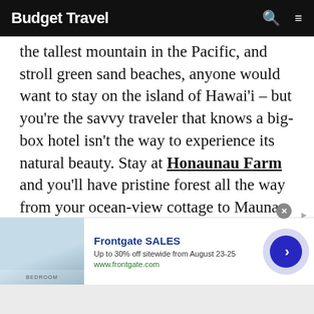Budget Travel
the tallest mountain in the Pacific, and stroll green sand beaches, anyone would want to stay on the island of Hawai'i – but you're the savvy traveler that knows a big-box hotel isn't the way to experience its natural beauty. Stay at Honaunau Farm and you'll have pristine forest all the way from your ocean-view cottage to Mauna Loa volcano. From this organic farm, you can easily access the tourist attractions while having the local insights and hands-on access to Hawaii's bounty.
[Figure (screenshot): Advertisement banner for Frontgate SALES. Shows a bedroom image on the left, text 'Frontgate SALES Up to 30% off sitewide from August 23-25 www.frontgate.com' in the center, and a blue arrow button on the right.]